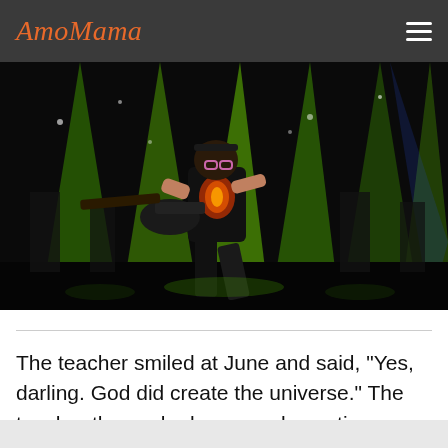AmoMama
[Figure (photo): A guitarist performing on stage with dramatic green stage lighting, wearing a black t-shirt and glasses, playing an electric guitar in a dynamic pose.]
The teacher smiled at June and said, "Yes, darling. God did create the universe." The teacher then asked a second question: "Where do people go after they have lived a good life?"